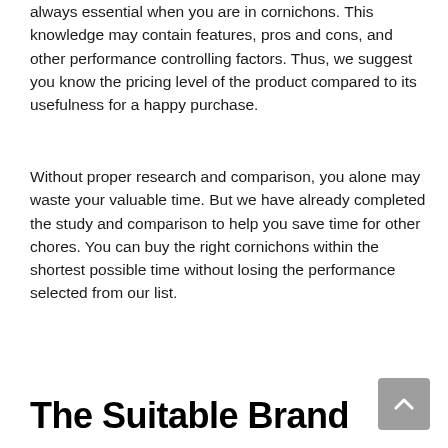always essential when you are in cornichons. This knowledge may contain features, pros and cons, and other performance controlling factors. Thus, we suggest you know the pricing level of the product compared to its usefulness for a happy purchase.
Without proper research and comparison, you alone may waste your valuable time. But we have already completed the study and comparison to help you save time for other chores. You can buy the right cornichons within the shortest possible time without losing the performance selected from our list.
The Suitable Brand